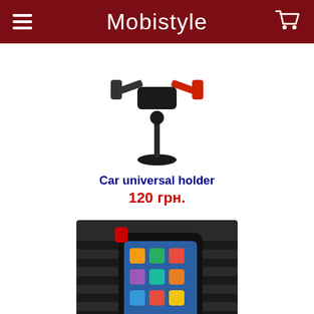Mobistyle
[Figure (photo): Car universal phone holder with suction cup base and red adjustable arms]
Car universal holder
120 грн.
[Figure (photo): Universal Cellular line car air vent phone holder with smartphone mounted]
Universal Cellular line
150 грн.
Картки пам'яті для Karbonn LION
[Figure (photo): Partial view of a memory card product at the bottom of the page]